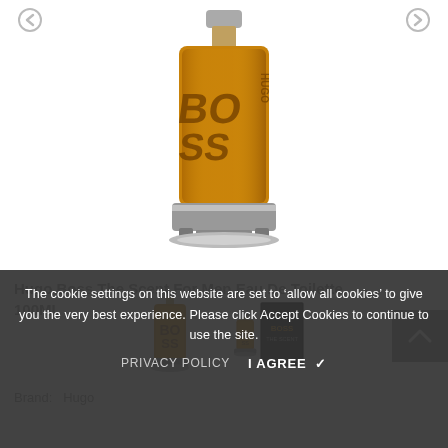[Figure (photo): Large Hugo Boss 'The Scent' perfume bottle with amber/gold color and chrome base, centered on white background. Navigation arrows visible top-left and top-right.]
[Figure (photo): Thumbnail image: small amber Hugo Boss The Scent perfume bottle]
[Figure (photo): Thumbnail image: Hugo Boss The Scent perfume bottle with black box packaging]
Hugo Boss The Scent For Men Eau De Toilette 100ML
Brand: Hugo
The cookie settings on this website are set to ‘allow all cookies’ to give you the very best experience. Please click Accept Cookies to continue to use the site.
PRIVACY POLICY   I AGREE ✓